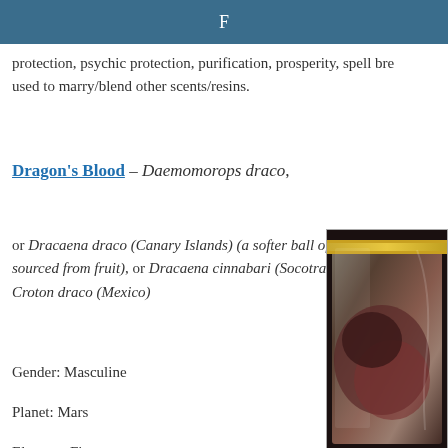F
protection, psychic protection, purification, prosperity, spell bre... used to marry/blend other scents/resins.
Dragon's Blood – Daemomorops draco,
or Dracaena draco (Canary Islands) (a softer ball of resin sourced from fruit), or Dracaena cinnabari (Socotra, Somalia), Croton draco (Mexico)
[Figure (photo): A zip-lock bag containing Dragon's Blood resin, dark reddish-purple material visible inside a clear plastic bag with gold zipper.]
Gender: Masculine
Planet: Mars
Element: Fire